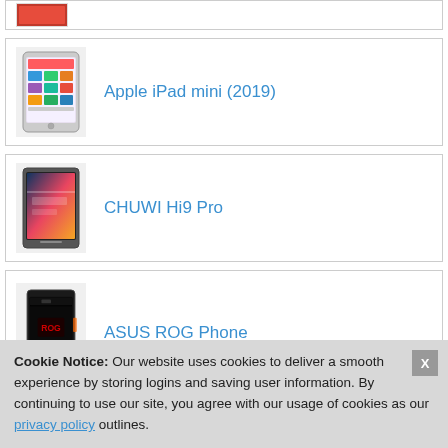(partial top card — device image only visible)
Apple iPad mini (2019)
CHUWI Hi9 Pro
ASUS ROG Phone
(partial bottom card)
Cookie Notice: Our website uses cookies to deliver a smooth experience by storing logins and saving user information. By continuing to use our site, you agree with our usage of cookies as our privacy policy outlines.